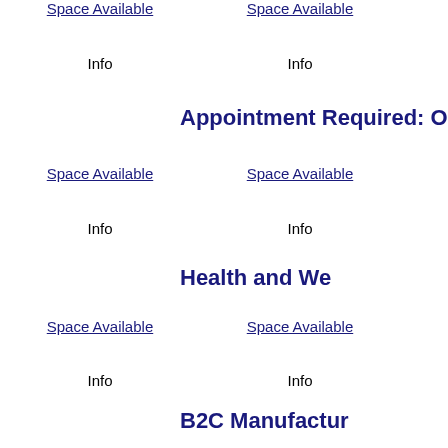Space Available   Space Available   Space A
Info   Info   In
Appointment Required: O
Space Available   Space Available   Space A
Info   Info   In
Health and We
Space Available   Space Available   Space A
Info   Info   In
B2C Manufactur
Space Available   Space Available   Space A
Info   Info